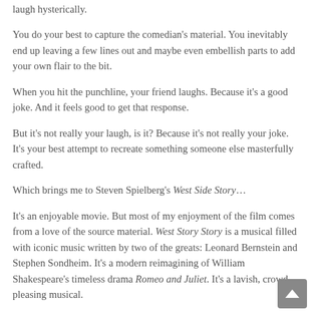laugh hysterically.
You do your best to capture the comedian's material. You inevitably end up leaving a few lines out and maybe even embellish parts to add your own flair to the bit.
When you hit the punchline, your friend laughs. Because it's a good joke. And it feels good to get that response.
But it's not really your laugh, is it? Because it's not really your joke. It's your best attempt to recreate something someone else masterfully crafted.
Which brings me to Steven Spielberg's West Side Story…
It's an enjoyable movie. But most of my enjoyment of the film comes from a love of the source material. West Story Story is a musical filled with iconic music written by two of the greats: Leonard Bernstein and Stephen Sondheim. It's a modern reimagining of William Shakespeare's timeless drama Romeo and Juliet. It's a lavish, crowd pleasing musical.